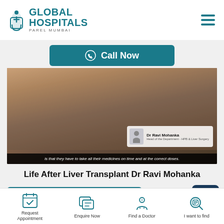[Figure (logo): Global Hospitals Parel Mumbai logo with teal GH icon]
Call Now
[Figure (screenshot): Video thumbnail of Dr Ravi Mohanka with subtitle: is that they have to take all their medicines on time and at the correct doses.]
Life After Liver Transplant Dr Ravi Mohanka
Book a Video Consultation
Request Appointment
Enquire Now
Find a Doctor
I want to find